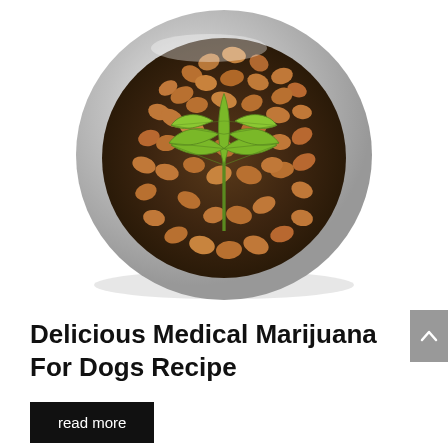[Figure (photo): Overhead view of a stainless steel dog food bowl filled with dry kibble, with a green cannabis/marijuana leaf placed on top of the kibble, on a white background.]
Delicious Medical Marijuana For Dogs Recipe
read more